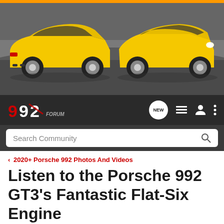[Figure (photo): Two yellow Porsche 992 sports cars photographed from rear-quarter and front-quarter angles against a dark rocky background]
[Figure (screenshot): 992 Forum navigation bar with logo, NEW button, list icon, user icon, and more icon]
Search Community
< 2020+ Porsche 992 Photos And Videos
Listen to the Porsche 992 GT3's Fantastic Flat-Six Engine
→ Jump to Latest
+ Follow
Add Yours: 2020+ Porsche 911 Owners Registry